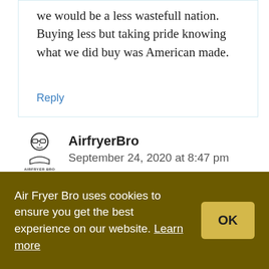we would be a less wastefull nation. Buying less but taking pride knowing what we did buy was American made.
Reply
[Figure (logo): AirfryerBro logo — cartoon figure with glasses sitting above text AIRFRYER BRO with a yellow curved line underneath]
AirfryerBro
September 24, 2020 at 8:47 pm
As you can see from the other
Air Fryer Bro uses cookies to ensure you get the best experience on our website. Learn more